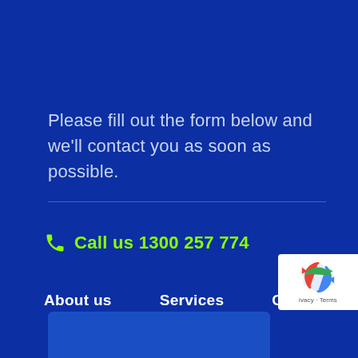Please fill out the form below and we'll contact you as soon as possible.
Call us 1300 257 774
About us
Services
Contact
[Figure (logo): reCAPTCHA badge with recycle-arrow icon and 'ivacy - Terms' text]